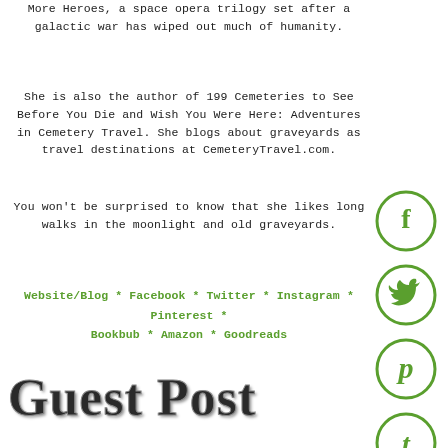More Heroes, a space opera trilogy set after a galactic war has wiped out much of humanity.
She is also the author of 199 Cemeteries to See Before You Die and Wish You Were Here: Adventures in Cemetery Travel. She blogs about graveyards as travel destinations at CemeteryTravel.com.
You won't be surprised to know that she likes long walks in the moonlight and old graveyards.
Website/Blog * Facebook * Twitter * Instagram * Pinterest * Bookbub * Amazon * Goodreads
Guest Post